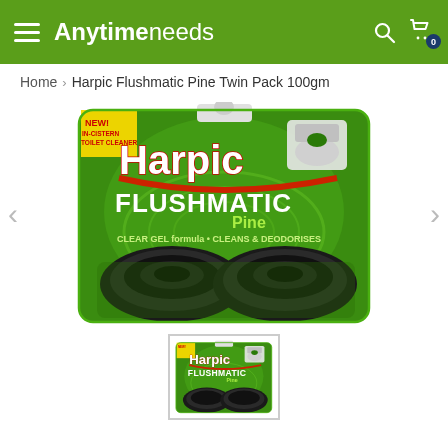Anytimeneeds
Home > Harpic Flushmatic Pine Twin Pack 100gm
[Figure (photo): Harpic Flushmatic Pine Twin Pack 100gm product photo — green packaging with two dark disc-shaped toilet rim blocks]
[Figure (photo): Thumbnail of Harpic Flushmatic Pine Twin Pack 100gm product]